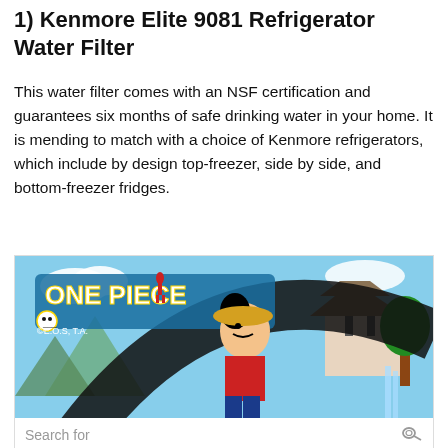1) Kenmore Elite 9081 Refrigerator Water Filter
This water filter comes with an NSF certification and guarantees six months of safe drinking water in your home. It is mending to match with a choice of Kenmore refrigerators, which include by design top-freezer, side by side, and bottom-freezer fridges.
[Figure (illustration): One Piece anime advertisement banner showing Luffy character with One Piece logo and Japanese castle background]
1  BEST REFRIGERATOR WATER FILTERS
2  BEST REFRIGERATORS TO BUY IN